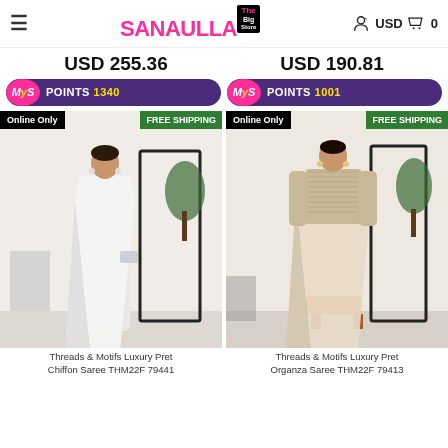≡  SANAULLA Big Store  USD  🛒 0
USD 255.36
USD 190.81
MyS POINTS 1340
MyS POINTS 1001
[Figure (photo): Woman wearing white chiffon saree with Online Only and FREE SHIPPING badges]
[Figure (photo): Woman wearing cream organza saree with lace top blouse with Online Only and FREE SHIPPING badges]
Threads & Motifs Luxury Pret Chiffon Saree THM22F 79441
Threads & Motifs Luxury Pret Organza Saree THM22F 79413